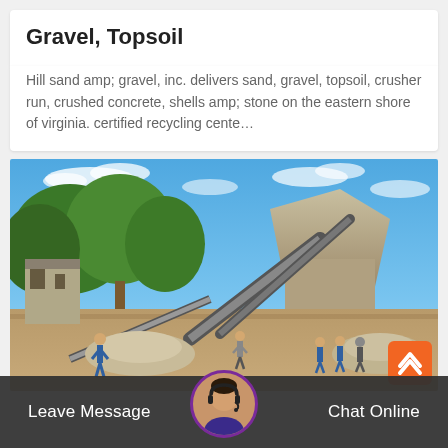Gravel, Topsoil
Hill sand amp; gravel, inc. delivers sand, gravel, topsoil, crusher run, crushed concrete, shells amp; stone on the eastern shore of virginia. certified recycling cente...
[Figure (photo): Outdoor gravel/sand processing facility with industrial machinery, conveyor belts, gravel piles, trees, blue sky, and workers in blue uniforms walking around the site.]
Leave Message   Chat Online